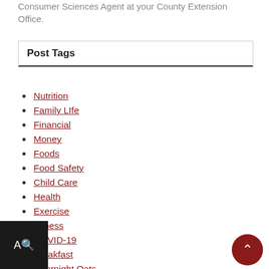Consumer Sciences Agent at your County Extension Office.
Post Tags
Nutrition
Family LIfe
Financial
Money
Foods
Food Safety
Child Care
Health
Exercise
Fitness
COVID-19
Breakfast
Overnight Oats
Phishing Scams